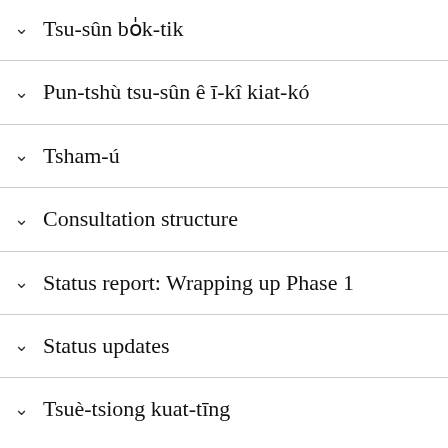Tsu-sûn bo̍k-tik
Pun-tshù tsu-sûn ê ī-kî kiat-kó
Tsham-ú
Consultation structure
Status report: Wrapping up Phase 1
Status updates
Tsuè-tsiong kuat-tīng